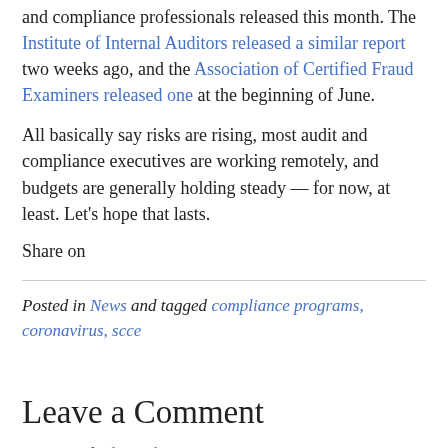and compliance professionals released this month. The Institute of Internal Auditors released a similar report two weeks ago, and the Association of Certified Fraud Examiners released one at the beginning of June.
All basically say risks are rising, most audit and compliance executives are working remotely, and budgets are generally holding steady — for now, at least. Let's hope that lasts.
Share on
Posted in News and tagged compliance programs, coronavirus, scce
Leave a Comment
You must be logged in to post a comment.
Connect with: